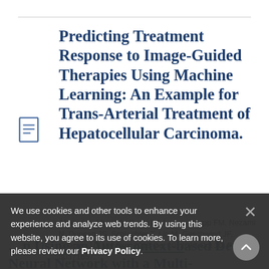Predicting Treatment Response to Image-Guided Therapies Using Machine Learning: An Example for Trans-Arterial Treatment of Hepatocellular Carcinoma.
Abajian A, Murali N, Savic LJ, Laage-Gaupp FM, Nezami N, Duncan JS, Schlachter T, Lin M, Geschwind JF, Chapiro J. J Vis Exp. 2018 Oct 10; 2018 Oct 10. PMID: 30371657.
We use cookies and other tools to enhance your experience and analyze web trends. By using this website, you agree to its use of cookies. To learn more, please review our Privacy Policy.
... n Using an Auto-context-based Deep Neural Network with a Multi-